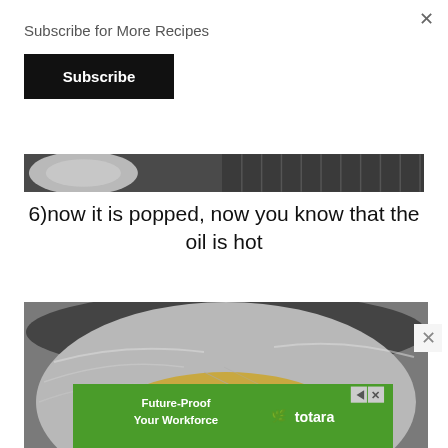×
Subscribe for More Recipes
Subscribe
[Figure (photo): Partial view of a dark cooking surface/pan, cropped strip]
6)now it is popped, now you know that the oil is hot
[Figure (photo): Inside of a large stainless steel pot with a single popped popcorn kernel at the bottom]
× (close button)
[Figure (infographic): Green advertisement banner: Future-Proof Your Workforce · totara with play and close controls]